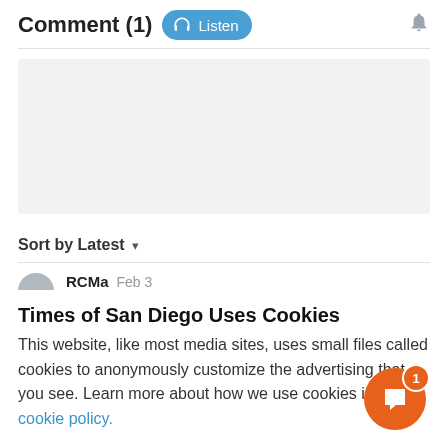Comment (1)
[Figure (other): Listen audio button with headphone icon]
[Figure (other): Bell notification icon]
[Figure (other): Gray advertisement placeholder box]
Sort by Latest ▾
RCMa  Feb 3
Times of San Diego Uses Cookies
This website, like most media sites, uses small files called cookies to anonymously customize the advertising that you see. Learn more about how we use cookies in our cookie policy.
[Figure (other): Orange circular chat FAB button with notification badge showing 1]